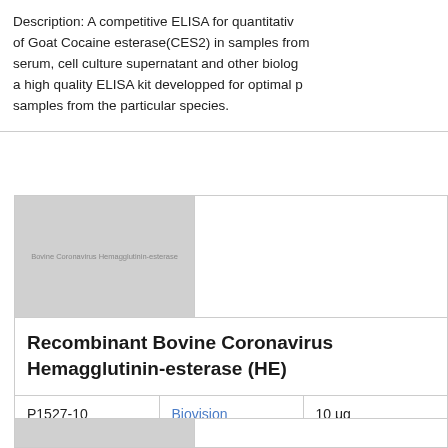Description: A competitive ELISA for quantitative measurement of Goat Cocaine esterase(CES2) in samples from serum, cell culture supernatant and other biological fluids. a high quality ELISA kit developped for optimal performance with samples from the particular species.
[Figure (photo): Product image placeholder for Recombinant Bovine Coronavirus Hemagglutinin-esterase (HE) showing a gray box with small text 'Bovine Coronavirus Hemagglutinin-esterase']
Recombinant Bovine Coronavirus Hemagglutinin-esterase (HE)
|  |  |  |
| --- | --- | --- |
| P1527-10 | Biovision | 10 μg |
[Figure (photo): Bottom product image placeholder, partially visible]